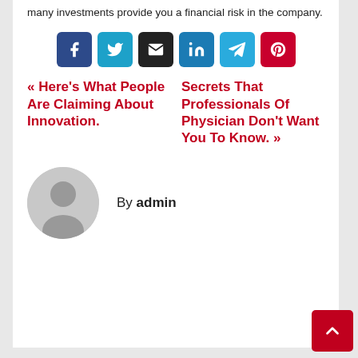many investments provide you a financial risk in the company.
[Figure (infographic): Row of six social share buttons: Facebook (dark blue), Twitter (blue), Email (black), LinkedIn (blue), Telegram (light blue), Pinterest (red)]
« Here's What People Are Claiming About Innovation.
Secrets That Professionals Of Physician Don't Want You To Know. »
By admin
[Figure (illustration): Gray circular avatar/profile placeholder icon]